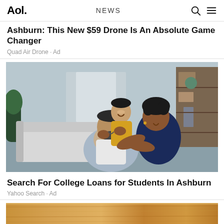Aol. NEWS
Ashburn: This New $59 Drone Is An Absolute Game Changer
Quad Air Drone · Ad
[Figure (photo): Happy family of three — a father seated, a young boy in yellow shirt standing behind him, and a mother in navy top — laughing together in a modern living room]
Search For College Loans for Students In Ashburn
Yahoo Search · Ad
[Figure (photo): Partial view of what appears to be a wooden surface, bottom of page]